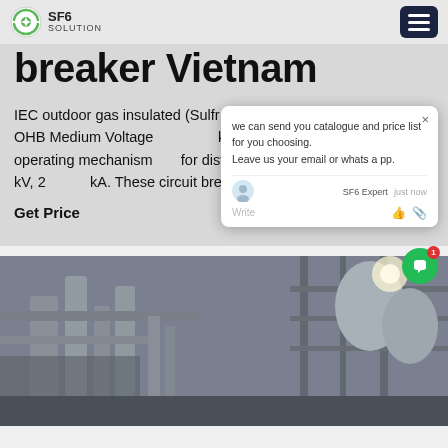SF6 SOLUTION
breaker Vietnam
IEC outdoor gas insulated (Sulfr hexafluoride) circuit breaker OHB Medium Voltage ker with mechanical operating mechanism for distribution systems up to 40.5 kV, 2 kA. These circuit breakers are of live ta
Get Price
[Figure (photo): Industrial facility with large pipes, steel structures, and equipment at a power or chemical plant]
[Figure (screenshot): Chat popup overlay: 'we can send you catalogue and price list for you choosing. Leave us your email or whatsapp.' from SF6 Expert, just now]